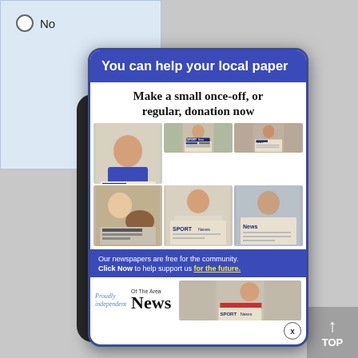No
[Figure (screenshot): Popup advertisement for 'Of The Area News' local newspaper. Blue header reads 'You can help your local paper'. Subheading: 'Make a small once-off, or regular, donation now'. Six photo collage of people reading newspapers. Blue footer: 'Our newspapers are free for the community. Click Now to help support us for the future.' Logo: Proudly independent, Of The Area News. Close button X at bottom right.]
You can help your local paper
Make a small once-off, or regular, donation now
Our newspapers are free for the community. Click Now to help support us for the future.
Proudly independent
Of The Area News
TOP